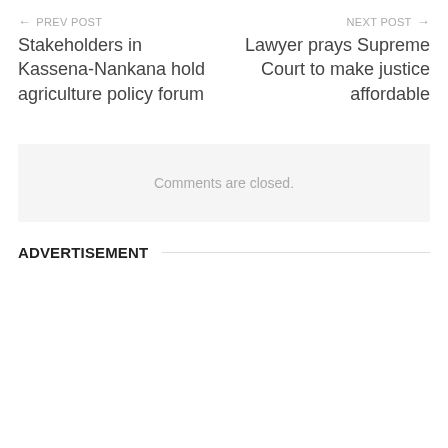← PREV POST
Stakeholders in Kassena-Nankana hold agriculture policy forum
NEXT POST →
Lawyer prays Supreme Court to make justice affordable
Comments are closed.
ADVERTISEMENT